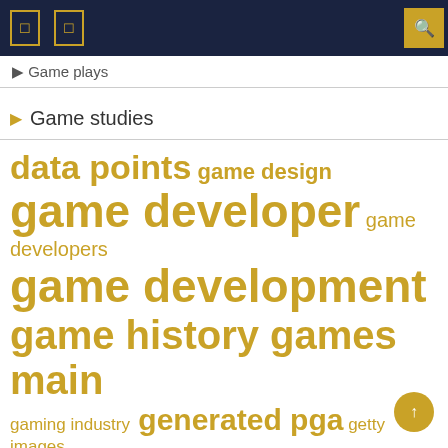Game plays
Game studies
[Figure (infographic): Tag cloud with game/gaming related terms in gold/yellow text of varying sizes: data points, game design, game developer, game developers, game development, game history, games main, gaming industry, generated pga, getty images, long term, los angeles, metrics generated, millions data]
data points  game design  game developer  game developers  game development  game history  games main  gaming industry  generated pga  getty images  long term  los angeles  metrics generated  millions data